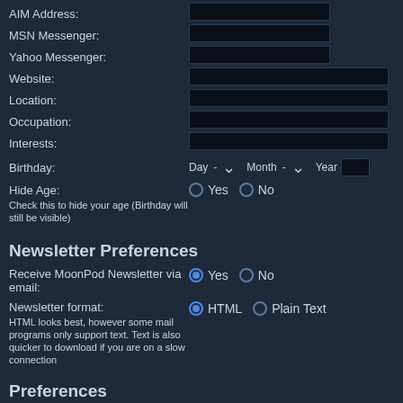AIM Address:
MSN Messenger:
Yahoo Messenger:
Website:
Location:
Occupation:
Interests:
Birthday: Day - Month - Year
Hide Age:
Check this to hide your age (Birthday will still be visible)
Yes (unselected) No (unselected)
Newsletter Preferences
Receive MoonPod Newsletter via email:
Yes (selected) No (unselected)
Newsletter format:
HTML looks best, however some mail programs only support text. Text is also quicker to download if you are on a slow connection
HTML (selected) Plain Text (unselected)
Preferences
Always show my e-mail address:
Yes (unselected) No (selected)
Hide your online status:
Yes (unselected) No (selected)
Always notify me of replies:
Sends an e-mail when someone replies to a topic you have posted in. This can be
Yes (unselected) No (selected)